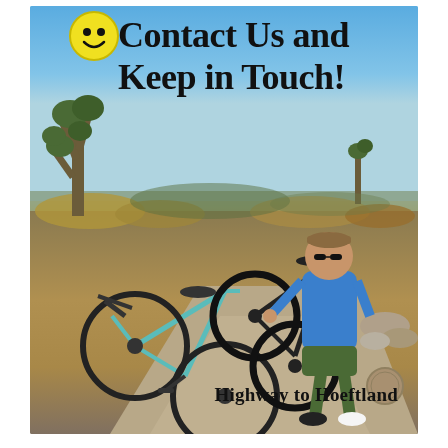[Figure (photo): A man standing next to two bicycles on a desert path, with Joshua trees and scrubland in the background under a blue sky. Overlaid text reads 'Contact Us and Keep in Touch!' with a yellow smiley face icon, and 'Highway to Hoeftland' branding in the lower right.]